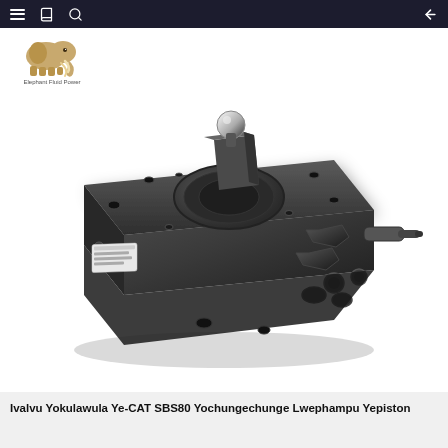Navigation bar with menu, book, search icons and back arrow
[Figure (logo): Elephant Fluid Power logo: brown/tan mammoth elephant illustration with text 'Elephant Fluid Power' below]
[Figure (photo): Dark grey/black hydraulic piston pump valve unit (CAT SBS80 type), photographed from a 3/4 angle on white background. The unit shows multiple ports, fittings, bolts, and a spherical ball joint on top.]
Ivalvu Yokulawula Ye-CAT SBS80 Yochungechunge Lwephampu Yepiston